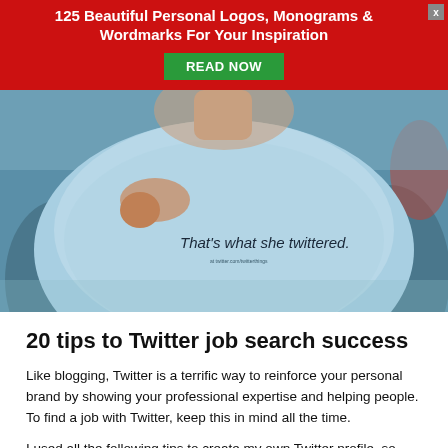[Figure (other): Advertisement banner with red background reading '125 Beautiful Personal Logos, Monograms & Wordmarks For Your Inspiration' with a green 'READ NOW' button and an X close button]
[Figure (photo): Photo of a person wearing a light blue t-shirt with the text 'That's what she twittered.' printed on it]
20 tips to Twitter job search success
Like blogging, Twitter is a terrific way to reinforce your personal brand by showing your professional expertise and helping people. To find a job with Twitter, keep this in mind all the time.
I used all the following tips to create my own Twitter profile, so visit http://twitter.com/jacobshare to get examples of